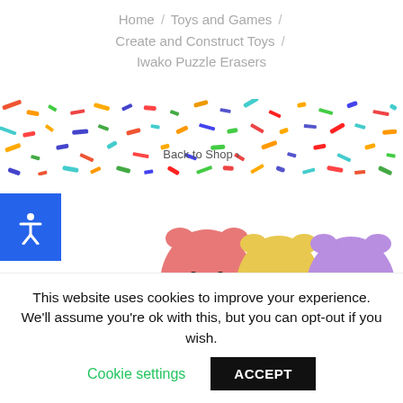Home / Toys and Games / Create and Construct Toys / Iwako Puzzle Erasers
[Figure (photo): Colorful confetti banner background with multicolored paper pieces scattered across a white background]
Back to Shop >
[Figure (illustration): Blue accessibility icon button showing a white stick figure with arms outstretched]
[Figure (photo): Three Iwako puzzle eraser hamsters in pink, yellow, and purple colors, displayed on white background with partial brown hamsters visible at bottom]
This website uses cookies to improve your experience. We'll assume you're ok with this, but you can opt-out if you wish.
Cookie settings
ACCEPT